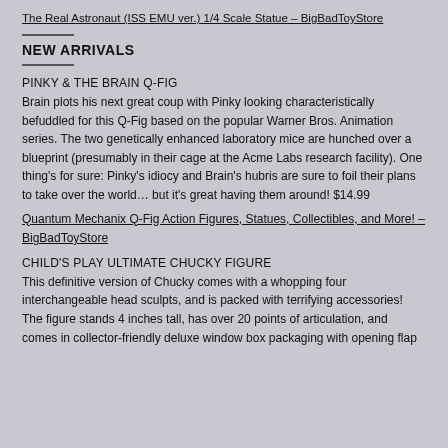The Real Astronaut (ISS EMU ver.) 1/4 Scale Statue – BigBadToyStore
NEW ARRIVALS
PINKY & THE BRAIN Q-FIG
Brain plots his next great coup with Pinky looking characteristically befuddled for this Q-Fig based on the popular Warner Bros. Animation series. The two genetically enhanced laboratory mice are hunched over a blueprint (presumably in their cage at the Acme Labs research facility). One thing's for sure: Pinky's idiocy and Brain's hubris are sure to foil their plans to take over the world… but it's great having them around! $14.99
Quantum Mechanix Q-Fig Action Figures, Statues, Collectibles, and More! – BigBadToyStore
CHILD'S PLAY ULTIMATE CHUCKY FIGURE
This definitive version of Chucky comes with a whopping four interchangeable head sculpts, and is packed with terrifying accessories! The figure stands 4 inches tall, has over 20 points of articulation, and comes in collector-friendly deluxe window box packaging with opening flap